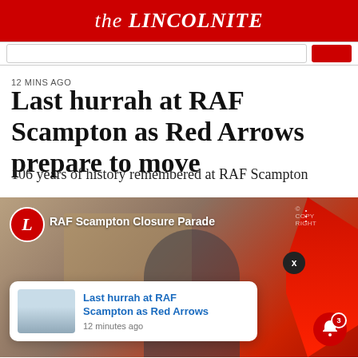the LINCOLNITE
12 MINS AGO
Last hurrah at RAF Scampton as Red Arrows prepare to move
106 years of history remembered at RAF Scampton
[Figure (screenshot): Video thumbnail showing RAF Scampton Closure Parade with The Lincolnite logo, a person in military uniform, a red aircraft, and a notification popup showing 'Last hurrah at RAF Scampton as Red Arrows' from 12 minutes ago]